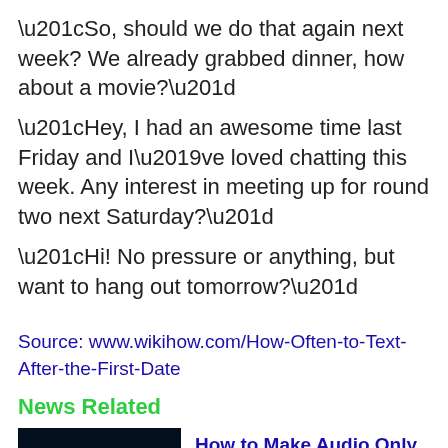“So, should we do that again next week? We already grabbed dinner, how about a movie?”
“Hey, I had an awesome time last Friday and I’ve loved chatting this week. Any interest in meeting up for round two next Saturday?”
“Hi! No pressure or anything, but want to hang out tomorrow?”
Source: www.wikihow.com/How-Often-to-Text-After-the-First-Date
News Related
[Figure (photo): Dark background photo with a glowing blue light arc/trail]
How to Make Audio Only FaceTime Calls